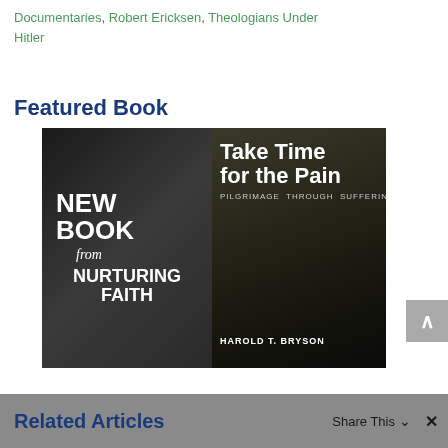Documentaries, Robert Ericksen, Theologians Under Hitler
Featured Book
[Figure (photo): Book advertisement image showing 'NEW BOOK from NURTURING FAITH' on dark background on left, and a tablet displaying 'Take Time for the Pain: Pilgrimage Through Suffering' by Harold T. Bryson on right]
Related Articles
Share This